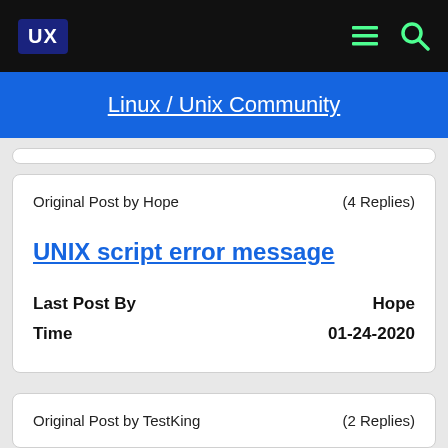UX
Linux / Unix Community
Original Post by Hope	(4 Replies)
UNIX script error message
Last Post By	Hope
Time	01-24-2020
Original Post by TestKing	(2 Replies)